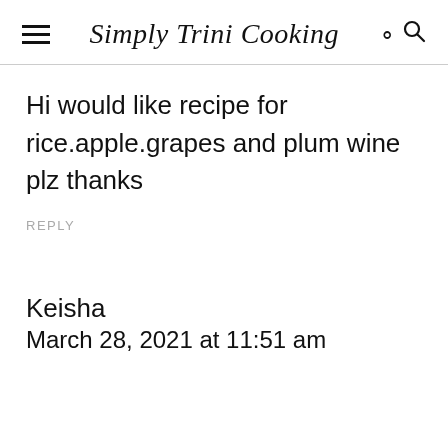Simply Trini Cooking
Hi would like recipe for rice.apple.grapes and plum wine plz thanks
REPLY
Keisha
March 28, 2021 at 11:51 am